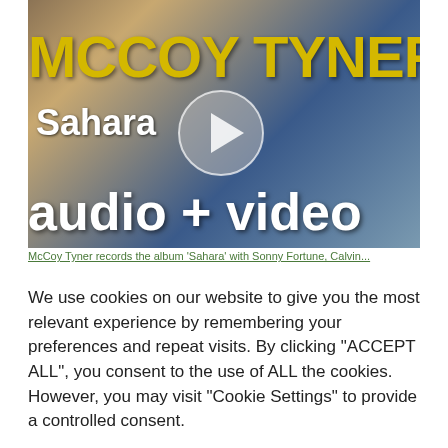[Figure (screenshot): Video thumbnail showing 'MCCOY TYNER Sahara audio + video' with a play button overlay on a music video scene]
McCoy Tyner records the album 'Sahara' with Sonny Fortune, Calvin...
We use cookies on our website to give you the most relevant experience by remembering your preferences and repeat visits. By clicking "ACCEPT ALL", you consent to the use of ALL the cookies. However, you may visit "Cookie Settings" to provide a controlled consent.
Cookie Settings   REJECT ALL   ACCEPT ALL